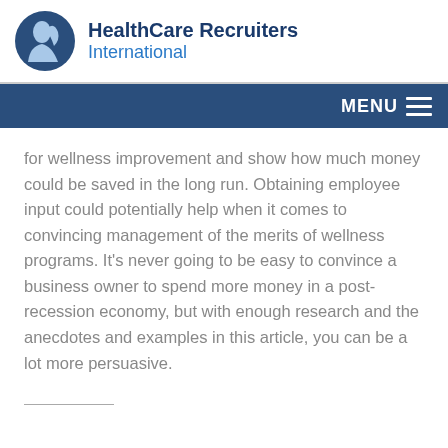[Figure (logo): HealthCare Recruiters International logo with blue circular icon of a profile face and company name in dark and medium blue text]
MENU
for wellness improvement and show how much money could be saved in the long run. Obtaining employee input could potentially help when it comes to convincing management of the merits of wellness programs. It’s never going to be easy to convince a business owner to spend more money in a post-recession economy, but with enough research and the anecdotes and examples in this article, you can be a lot more persuasive.